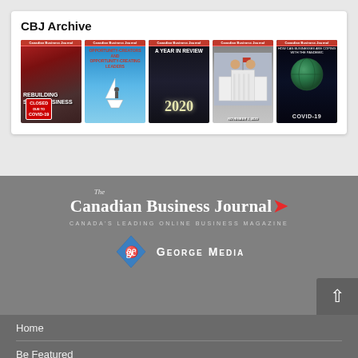CBJ Archive
[Figure (illustration): Five magazine covers of The Canadian Business Journal displayed in a row: Rebuilding Small Business (COVID closed sign), Opportunity-Creating Leaders (person on paper boat), A Year in Review 2020 (chalkboard), Biden vs Trump (White House), COVID-19 (globe)]
[Figure (logo): The Canadian Business Journal logo with red maple leaf accent and tagline CANADA'S LEADING ONLINE BUSINESS MAGAZINE, alongside George Media diamond logo]
Home
Be Featured
Advertise with CBJ...